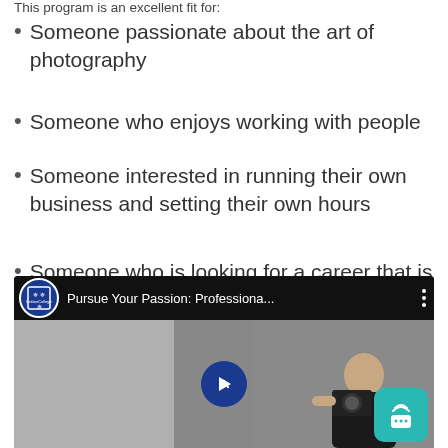This program is an excellent fit for:
Someone passionate about the art of photography
Someone who enjoys working with people
Someone interested in running their own business and setting their own hours
Someone who is looking for a career that is fulfilling both personally and professionally
[Figure (screenshot): Video thumbnail showing 'Pursue Your Passion: Professiona...' with a college logo, a woman photographer holding a camera, a play button overlay, and a chat widget button in the bottom right.]